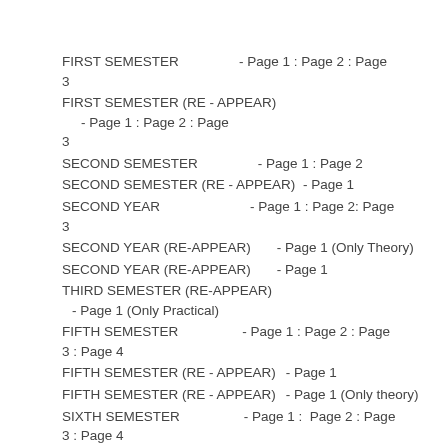FIRST SEMESTER - Page 1 : Page 2 : Page 3
FIRST SEMESTER (RE - APPEAR) - Page 1 : Page 2 : Page 3
SECOND SEMESTER - Page 1 : Page 2
SECOND SEMESTER (RE - APPEAR) - Page 1
SECOND YEAR - Page 1 : Page 2: Page 3
SECOND YEAR (RE-APPEAR) - Page 1 (Only Theory)
SECOND YEAR (RE-APPEAR) - Page 1
THIRD SEMESTER (RE-APPEAR) - Page 1 (Only Practical)
FIFTH SEMESTER - Page 1 : Page 2 : Page 3 : Page 4
FIFTH SEMESTER (RE - APPEAR) - Page 1
FIFTH SEMESTER (RE - APPEAR) - Page 1 (Only theory)
SIXTH SEMESTER - Page 1 :  Page 2 : Page 3 : Page 4
SIXTH SEMESTER (RE - APPEAR) - Page 1 :  Page 2
SIXTH SEMESTER (SUPPLEMENTARY) - Page 1